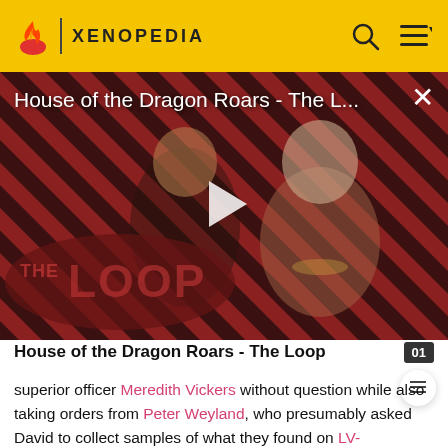XENOPEDIA
[Figure (screenshot): Video thumbnail for 'House of the Dragon Roars - The L...' showing two characters against a red and black diagonal striped background with THE LOOP branding and a play button overlay.]
House of the Dragon Roars - The Loop
superior officer Meredith Vickers without question while also taking orders from Peter Weyland, who presumably asked David to collect samples of what they found on LV-227, the Prometheus expedition's destination [5].